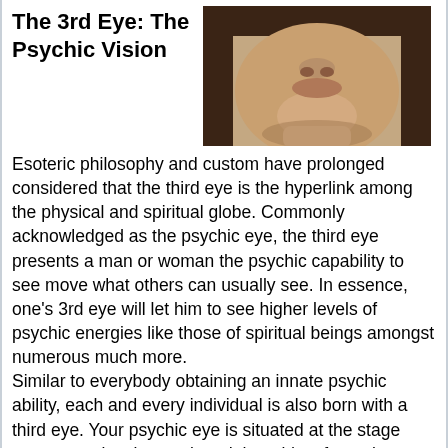The 3rd Eye: The Psychic Vision
[Figure (photo): Close-up photo of a person's face tilted back, showing the chin, nose, and forehead area from below, with dark hair visible. The skin is illuminated and the background is neutral.]
Esoteric philosophy and custom have prolonged considered that the third eye is the hyperlink among the physical and spiritual globe. Commonly acknowledged as the psychic eye, the third eye presents a man or woman the psychic capability to see move what others can usually see. In essence, one's 3rd eye will let him to see higher levels of psychic energies like those of spiritual beings amongst numerous much more.
Similar to everybody obtaining an innate psychic ability, each and every individual is also born with a third eye. Your psychic eye is situated at the stage proper previously mentioned the midst of your brows, and it is your indicates to hook up with the larger or spiritual realms.
A lot more often than not, your third eye is either partially open up or fully blocked, and there are only a handful of individuals out there who have theirs entirely energetic. But then, everyone is able to unlock their psychic eye and the special psychic capability that comes along with it.